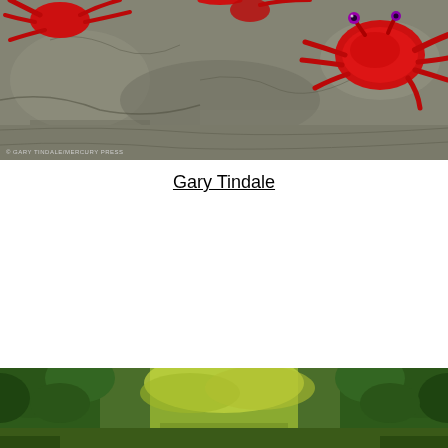[Figure (photo): Close-up photo of red crabs on a rocky surface. The crabs have bright red bodies and claws, with one crab in the upper right showing a distinctive eye. A watermark/credit line reads 'GARY TINDALE/MERCURY PRESS' in the lower left corner.]
Gary Tindale
[Figure (photo): Landscape photo showing a lush green forest or jungle scene with trees and foliage, viewed from a road or path.]